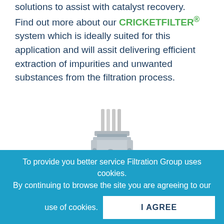solutions to assist with catalyst recovery. Find out more about our CRICKETFILTER® system which is ideally suited for this application and will assit delivering efficient extraction of impurities and unwanted substances from the filtration process.
[Figure (photo): A stainless steel industrial candle filter vessel (CricketFilter) with vertical tubes at the top, flanged cylindrical body, side nozzles, and support legs, shown against a white background.]
To provide you better service Filtration Group uses cookies. By continuing to browse the site you are agreeing to our use of cookies. I AGREE